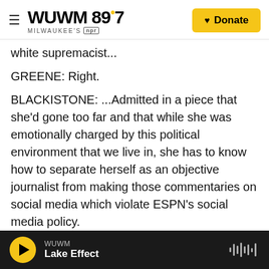WUWM 89.7 Milwaukee's NPR — Donate
white supremacist...
GREENE: Right.
BLACKISTONE: ...Admitted in a piece that she'd gone too far and that while she was emotionally charged by this political environment that we live in, she has to know how to separate herself as an objective journalist from making those commentaries on social media which violate ESPN's social media policy.
GREENE: Yeah. You - I mean, you mentioned her comment calling Trump a white supremacist. And
WUWM — Lake Effect (player bar)